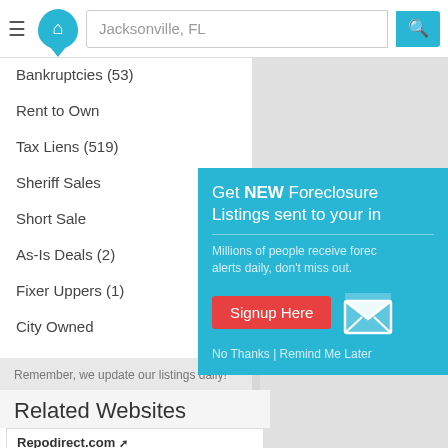Jacksonville, FL
Bankruptcies (53)
Rent to Own
Tax Liens (519)
Sheriff Sales
Short Sale
As-Is Deals (2)
Fixer Uppers (1)
City Owned
Remember, we update our listings daily!
[Figure (infographic): Popup overlay: Get NEW Foreclosure Listings sent to your inbox. Millions of people receive foreclosure alerts daily, don't miss out. Signup Here button. No Thanks | Remind Me Later.]
Related Websites
Repodirect.com — Online auction for boats, cars, jet skis etc.